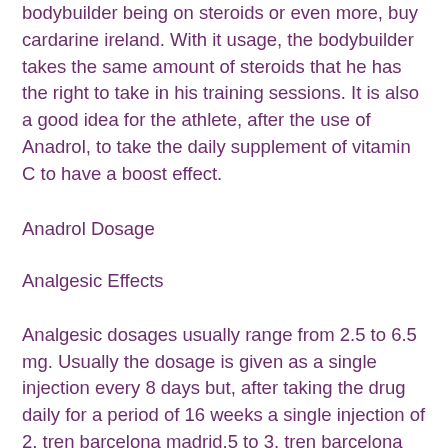bodybuilder being on steroids or even more, buy cardarine ireland. With it usage, the bodybuilder takes the same amount of steroids that he has the right to take in his training sessions. It is also a good idea for the athlete, after the use of Anadrol, to take the daily supplement of vitamin C to have a boost effect.
Anadrol Dosage
Analgesic Effects
Analgesic dosages usually range from 2.5 to 6.5 mg. Usually the dosage is given as a single injection every 8 days but, after taking the drug daily for a period of 16 weeks a single injection of 2, tren barcelona madrid.5 to 3, tren barcelona madrid.0 mg will be given, tren barcelona madrid. The dosage is generally applied